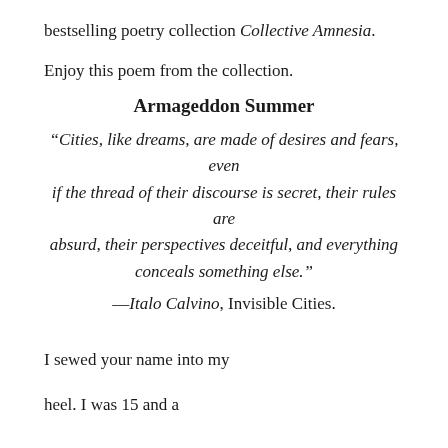bestselling poetry collection Collective Amnesia.
Enjoy this poem from the collection.
Armageddon Summer
“Cities, like dreams, are made of desires and fears, even if the thread of their discourse is secret, their rules are absurd, their perspectives deceitful, and everything conceals something else.”
—Italo Calvino, Invisible Cities.
I sewed your name into my
heel. I was 15 and a